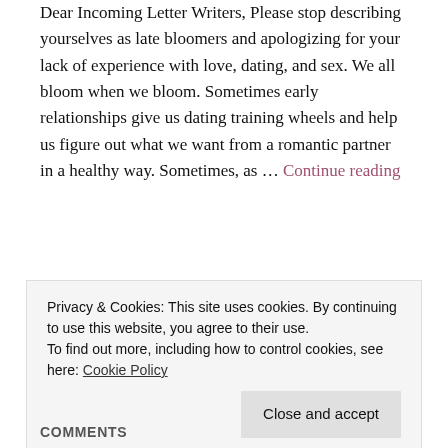Dear Incoming Letter Writers, Please stop describing yourselves as late bloomers and apologizing for your lack of experience with love, dating, and sex. We all bloom when we bloom. Sometimes early relationships give us dating training wheels and help us figure out what we want from a romantic partner in a healthy way. Sometimes, as … Continue reading
Privacy & Cookies: This site uses cookies. By continuing to use this website, you agree to their use.
To find out more, including how to control cookies, see here: Cookie Policy
[Close and accept]
COMMENTS